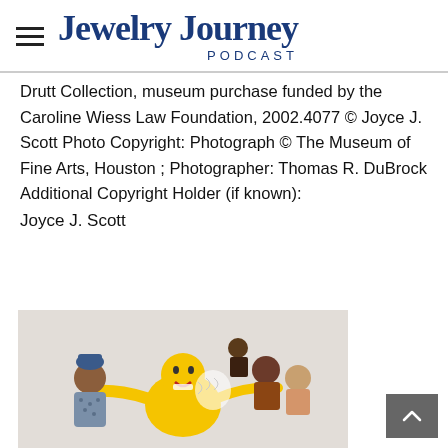Jewelry Journey Podcast
Drutt Collection, museum purchase funded by the Caroline Wiess Law Foundation, 2002.4077 © Joyce J. Scott Photo Copyright: Photograph © The Museum of Fine Arts, Houston ; Photographer: Thomas R. DuBrock Additional Copyright Holder (if known):
Joyce J. Scott
[Figure (photo): Beaded sculptural artwork showing colorful crocheted/beaded figures, including a yellow figure in the center with outstretched arms and other figures around it on a light background.]